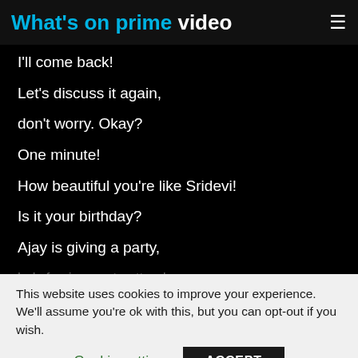What's on prime video
I'll come back!
Let's discuss it again,
don't worry. Okay?
One minute!
How beautiful you're like Sridevi!
Is it your birthday?
Ajay is giving a party,
he's forcing me to attend
This website uses cookies to improve your experience. We'll assume you're ok with this, but you can opt-out if you wish.
Cookie settings
ACCEPT